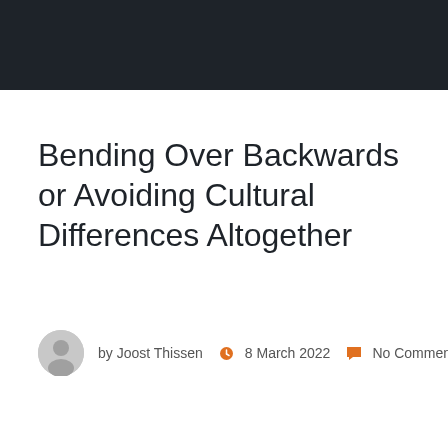[Figure (other): Dark navigation bar at the top of the page]
Bending Over Backwards or Avoiding Cultural Differences Altogether
by Joost Thissen  8 March 2022  No Comments